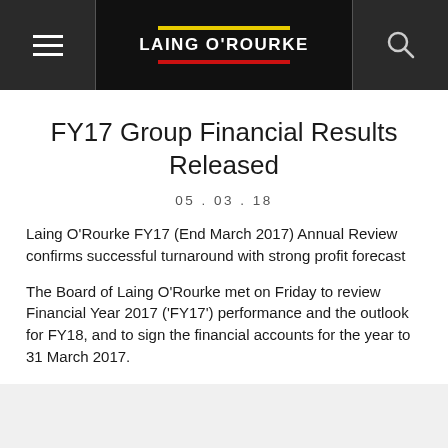LAING O'ROURKE
FY17 Group Financial Results Released
05.03.18
Laing O'Rourke FY17 (End March 2017) Annual Review confirms successful turnaround with strong profit forecast
The Board of Laing O'Rourke met on Friday to review Financial Year 2017 ('FY17') performance and the outlook for FY18, and to sign the financial accounts for the year to 31 March 2017.